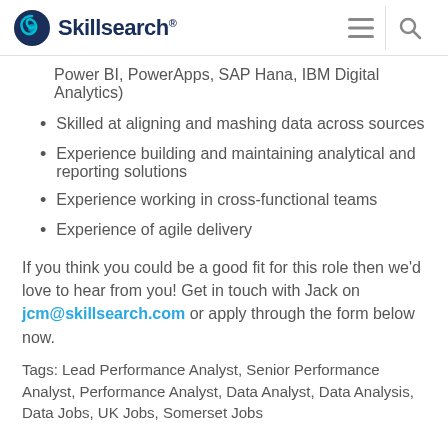Skillsearch®
Power BI, PowerApps, SAP Hana, IBM Digital Analytics)
Skilled at aligning and mashing data across sources
Experience building and maintaining analytical and reporting solutions
Experience working in cross-functional teams
Experience of agile delivery
If you think you could be a good fit for this role then we'd love to hear from you! Get in touch with Jack on jcm@skillsearch.com or apply through the form below now.
Tags: Lead Performance Analyst, Senior Performance Analyst, Performance Analyst, Data Analyst, Data Analysis, Data Jobs, UK Jobs, Somerset Jobs